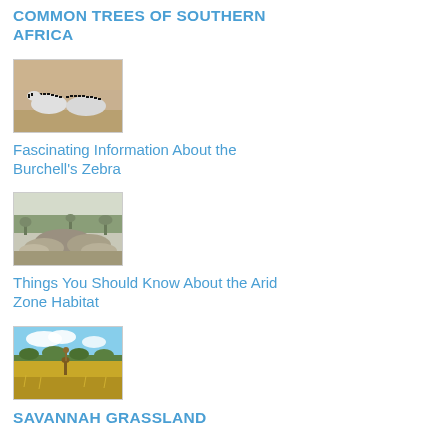COMMON TREES OF SOUTHERN AFRICA
[Figure (photo): Photo of zebras in a dusty grassland habitat]
Fascinating Information About the Burchell's Zebra
[Figure (photo): Aerial or elevated view of arid rocky landscape with sparse trees]
Things You Should Know About the Arid Zone Habitat
[Figure (photo): Photo of savannah grassland with an animal and blue sky]
SAVANNAH GRASSLAND